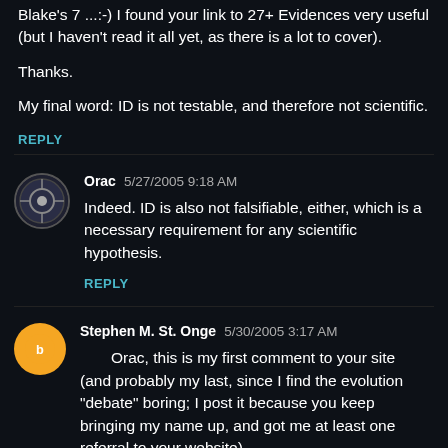Blake's 7 ...:-) I found your link to 27+ Evidences very useful (but I haven't read it all yet, as there is a lot to cover).
Thanks.
My final word: ID is not testable, and therefore not scientific.
REPLY
Orac  5/27/2005 9:18 AM
Indeed. ID is also not falsifiable, either, which is a necessary requirement for any scientific hypothesis.
REPLY
Stephen M. St. Onge  5/30/2005 3:17 AM
Orac, this is my first comment to your site (and probably my last, since I find the evolution "debate" boring; I post it because you keep bringing my name up, and got me at least one referral to your website).